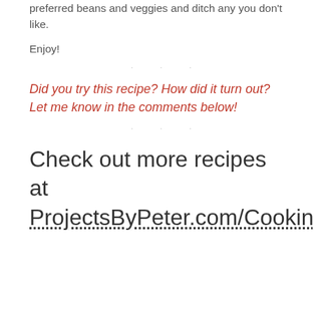preferred beans and veggies and ditch any you don't like.
Enjoy!
· · ·
Did you try this recipe? How did it turn out? Let me know in the comments below!
· · ·
Check out more recipes at ProjectsByPeter.com/Cooking